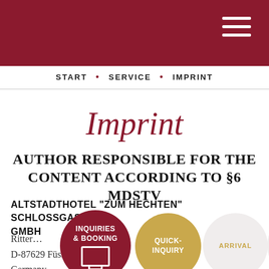START • SERVICE • IMPRINT
Imprint
AUTHOR RESPONSIBLE FOR THE CONTENT ACCORDING TO §6 MDSTV
ALTSTADTHOTEL "ZUM HECHTEN" SCHLOSSGASTHOF GMBH
Ritterstraße
D-87629 Füssen
Germany
[Figure (other): Website UI overlay with four circular buttons: dark red 'INQUIRIES & BOOKING' with laptop icon, gold 'QUICK-INQUIRY', light grey 'ARRIVAL', light grey 'DEUTSCH']